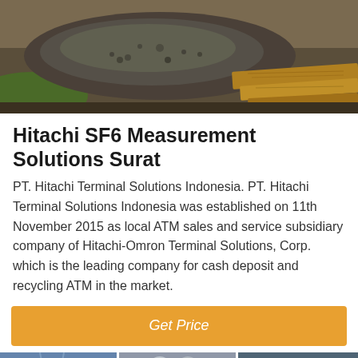[Figure (photo): Overhead photo of gravel/rocks pile on ground with wooden planks/railroad ties visible]
Hitachi SF6 Measurement Solutions Surat
PT. Hitachi Terminal Solutions Indonesia. PT. Hitachi Terminal Solutions Indonesia was established on 11th November 2015 as local ATM sales and service subsidiary company of Hitachi-Omron Terminal Solutions, Corp. which is the leading company for cash deposit and recycling ATM in the market.
[Figure (screenshot): Get Price button - orange/amber colored button with white italic text 'Get Price']
[Figure (photo): Bottom image showing industrial/electrical infrastructure panels with scroll-to-top button and bottom navigation bar with Leave Message and Chat Online options and customer service avatar]